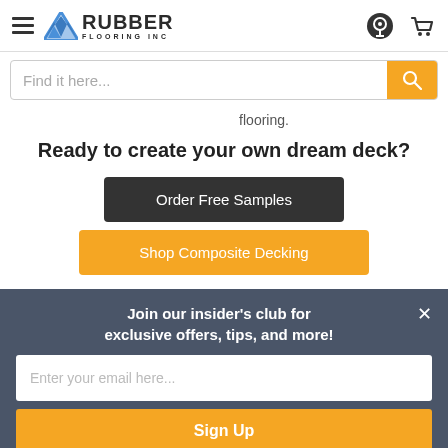Rubber Flooring Inc — navigation header with hamburger menu, logo, search icon, cart icon
Find it here...
flooring.
Ready to create your own dream deck?
Order Free Samples
Shop Composite Decking
Join our insider's club for exclusive offers, tips, and more!
Enter your email here...
Sign Up